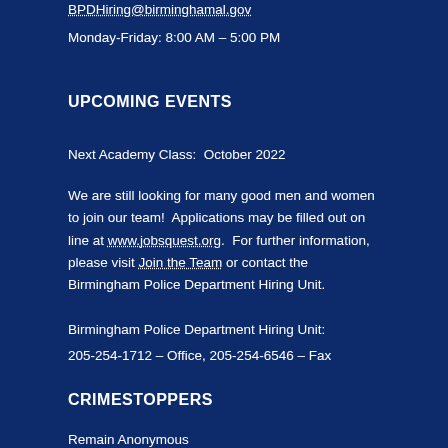BPDHiring@birminghamal.gov
Monday-Friday: 8:00 AM – 5:00 PM
UPCOMING EVENTS
Next Academy Class:  October 2022
We are still looking for many good men and women to join our team!  Applications may be filled out on line at www.jobsquest.org.  For further information, please visit Join the Team or contact the Birmingham Police Department Hiring Unit.
Birmingham Police Department Hiring Unit:
205-254-1712 – Office, 205-254-6546 – Fax
CRIMESTOPPERS
Remain Anonymous
Rewards Up to $5,000.00